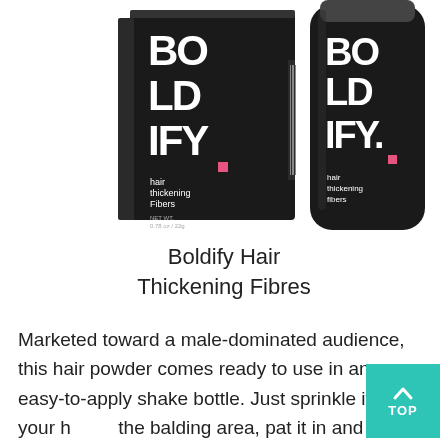[Figure (photo): Product photo of Boldify Hair Thickening Fibres showing a dark box packaging and a cylindrical dark bottle/container, both branded with BOLDIFY in large white letters on a black background, with a small pink square accent and text 'hair thickening fibers' on the packaging.]
Boldify Hair Thickening Fibres
Marketed toward a male-dominated audience, this hair powder comes ready to use in an easy-to-apply shake bottle. Just sprinkle it on your hair at the balding area, pat it in and you're ready t…